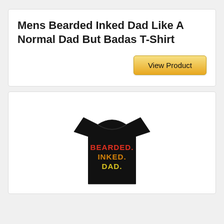Mens Bearded Inked Dad Like A Normal Dad But Badas T-Shirt
View Product
[Figure (photo): Black t-shirt with colorful text reading BEARDED. INKED. DAD. in red, orange, and yellow gradient letters]